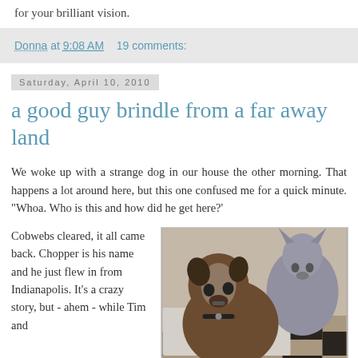for your brilliant vision.
Donna at 9:08 AM   19 comments:
Saturday, April 10, 2010
a good guy brindle from a far away land
We woke up with a strange dog in our house the other morning. That happens a lot around here, but this one confused me for a quick minute. "Whoa. Who is this and how did he get here?'
Cobwebs cleared, it all came back. Chopper is his name and he just flew in from Indianapolis. It's a crazy story, but - ahem - while Tim and
[Figure (photo): Photo of two dogs, a brown/brindle dog in the foreground and a grey dog behind it, indoors on a checkered floor]